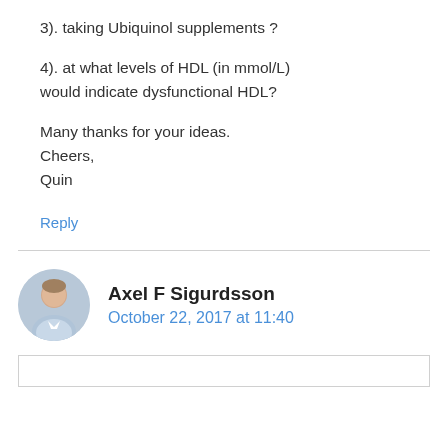3). taking Ubiquinol supplements ?

4). at what levels of HDL (in mmol/L) would indicate dysfunctional HDL?

Many thanks for your ideas.
Cheers,
Quin
Reply
Axel F Sigurdsson
October 22, 2017 at 11:40